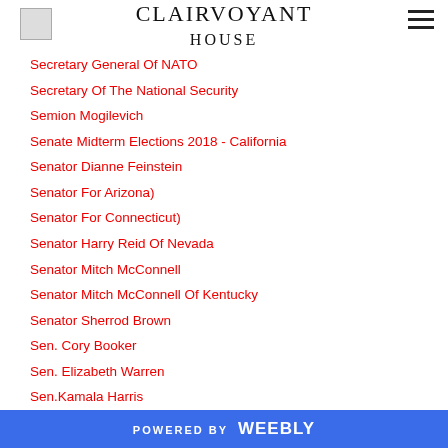CLAIRVOYANT HOUSE
Secretary General Of NATO
Secretary Of The National Security
Semion Mogilevich
Senate Midterm Elections 2018 - California
Senator Dianne Feinstein
Senator For Arizona)
Senator For Connecticut)
Senator Harry Reid Of Nevada
Senator Mitch McConnell
Senator Mitch McConnell Of Kentucky
Senator Sherrod Brown
Sen. Cory Booker
Sen. Elizabeth Warren
Sen.Kamala Harris
Serge Saxonov
POWERED BY weebly